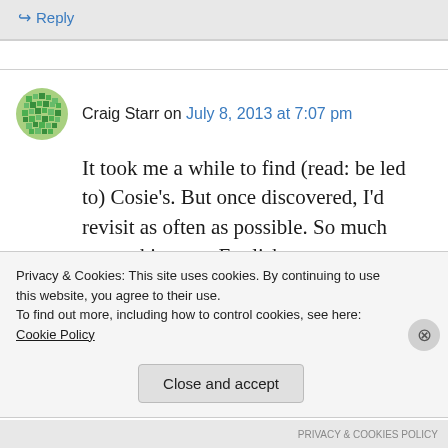Reply
Craig Starr on July 8, 2013 at 7:07 pm
It took me a while to find (read: be led to) Cosie's. But once discovered, I'd revisit as often as possible. So much more akin to an English
Privacy & Cookies: This site uses cookies. By continuing to use this website, you agree to their use.
To find out more, including how to control cookies, see here: Cookie Policy
Close and accept